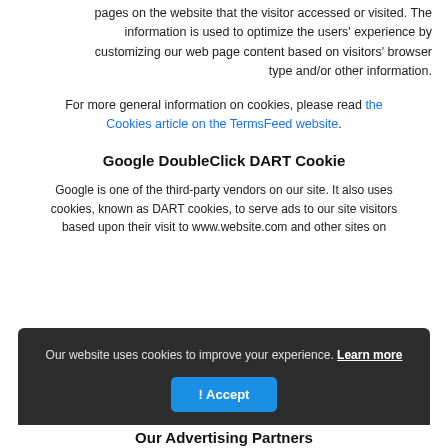pages on the website that the visitor accessed or visited. The information is used to optimize the users' experience by customizing our web page content based on visitors' browser type and/or other information.
For more general information on cookies, please read the Cookies article on the TermsFeed website.
Google DoubleClick DART Cookie
Google is one of the third-party vendors on our site. It also uses cookies, known as DART cookies, to serve ads to our site visitors based upon their visit to www.website.com and other sites on
[Figure (screenshot): Cookie consent banner with dark background reading 'Our website uses cookies to improve your experience. Learn more' with an 'Accept!' button in blue]
Our Advertising Partners